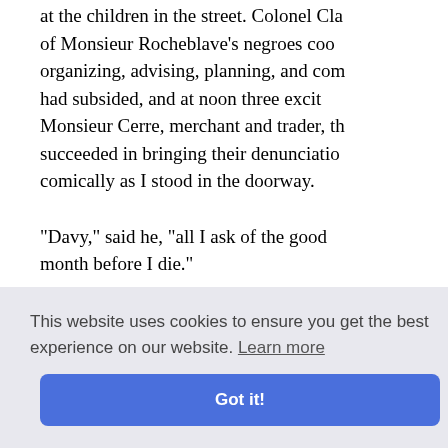at the children in the street. Colonel Cla of Monsieur Rocheblave's negroes coo organizing, advising, planning, and com had subsided, and at noon three excit Monsieur Cerre, merchant and trader, th succeeded in bringing their denunciatio comically as I stood in the doorway.
"Davy," said he, "all I ask of the good month before I die."
"I think He would find that difficult, sir,
"Then there's no hope for me," he answ l state to
pped his
lonsieur C
This website uses cookies to ensure you get the best experience on our website. Learn more
Got it!